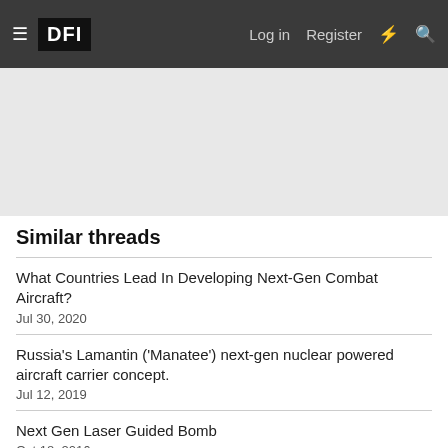DFI — Log in  Register
[Figure (other): Gray advertisement/banner area]
Similar threads
What Countries Lead In Developing Next-Gen Combat Aircraft?
Jul 30, 2020
Russia's Lamantin ('Manatee') next-gen nuclear powered aircraft carrier concept.
Jul 12, 2019
Next Gen Laser Guided Bomb
Oct 18, 2016